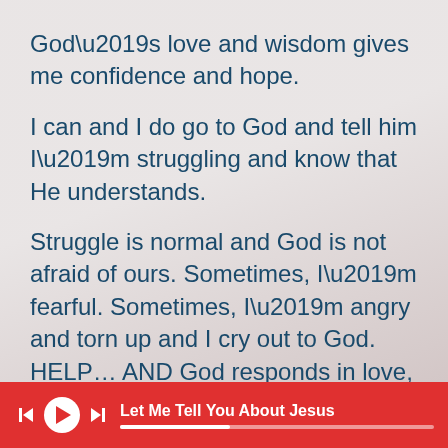God’s love and wisdom gives me confidence and hope.
I can and I do go to God and tell him I’m struggling and know that He understands.
Struggle is normal and God is not afraid of ours. Sometimes, I’m fearful. Sometimes, I’m angry and torn up and I cry out to God. HELP… AND God responds in love, compassion and
Let Me Tell You About Jesus